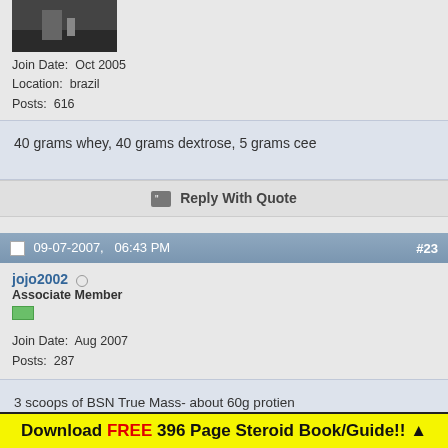[Figure (photo): Partial avatar image, dark background]
Join Date:  Oct 2005
Location:  brazil
Posts:  616
40 grams whey, 40 grams dextrose, 5 grams cee
Reply With Quote
09-07-2007,   06:43 PM
#23
jojo2002
Associate Member
Join Date:  Aug 2007
Posts:  287
3 scoops of BSN True Mass- about 60g protien
MSM Crystal
GLUCOSAMINE
Ice
Half cup of raw oats
Download FREE 396 Page Steroid Book/Guide!! ▲